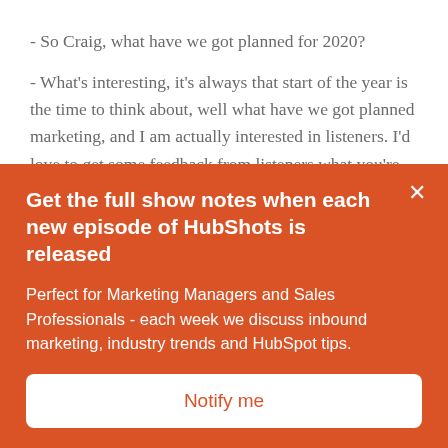- So Craig, what have we got planned for 2020?
- What's interesting, it's always that start of the year is the time to think about, well what have we got planned marketing, and I am actually interested in listeners. I'd love to get some feedback from listeners what you're actually doing. I know everyone tries to be planning for the year in the previous year, so if you were really organized, you would have had your 2020 plans all--
- Done.
Get the full show notes when each new episode of HubShots is released
Perfect for Marketing Managers and Sales Professionals - each week we discuss inbound marketing, industry trends and HubSpot tips.
Notify me